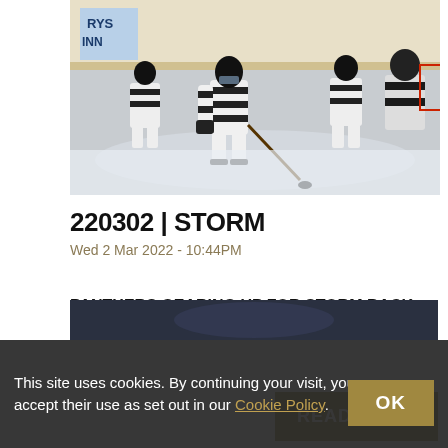[Figure (photo): Ice hockey game action shot: player in black and white striped jersey skating with puck, other players and referee in background, arena boards visible with 'RYS INN' signage]
220302 | STORM
Wed 2 Mar 2022 - 10:44PM
PANTHERS GEARING UP FOR STORM BACK-TO-BACK
READ MORE
This site uses cookies. By continuing your visit, you accept their use as set out in our Cookie Policy.
[Figure (photo): Partial view of another hockey-related photo at bottom of page (cropped by cookie banner)]